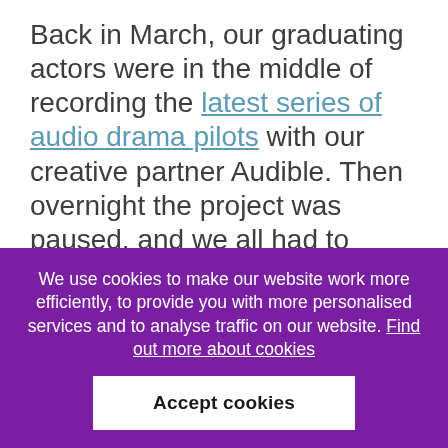Back in March, our graduating actors were in the middle of recording the latest series of audio drama pilots with our creative partner Audible. Then overnight the project was paused, and we all had to quickly adapt to working and learning virtually.
“The past few months were certainly a steep learning curve for the screen and audio...
We use cookies to make our website work more efficiently, to provide you with more personalised services and to analyse traffic on our website. Find out more about cookies
Accept cookies